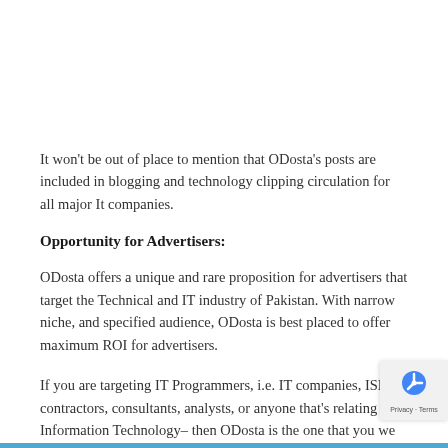It won't be out of place to mention that ODosta's posts are included in blogging and technology clipping circulation for all major It companies.
Opportunity for Advertisers:
ODosta offers a unique and rare proposition for advertisers that target the Technical and IT industry of Pakistan. With narrow niche, and specified audience, ODosta is best placed to offer maximum ROI for advertisers.
If you are targeting IT Programmers, i.e. IT companies, ISPs, contractors, consultants, analysts, or anyone that's relating to Information Technology– then ODosta is the one that you we...